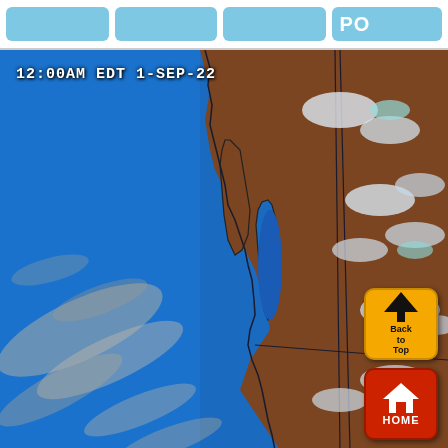Navigation bar with buttons including PO
[Figure (map): Satellite infrared imagery of the US Pacific Northwest coast showing ocean and land at 12:00AM EDT 1-SEP-22. Blue ocean on left with cloud formations, brown/tan land mass on right with state borders, Puget Sound visible, scattered clouds over land. Back to Top and HOME navigation buttons overlaid in bottom-right corner.]